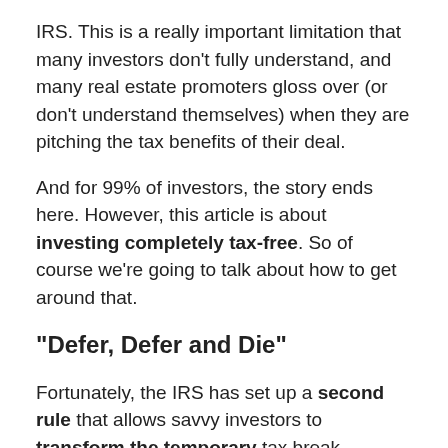IRS. This is a really important limitation that many investors don't fully understand, and many real estate promoters gloss over (or don't understand themselves) when they are pitching the tax benefits of their deal.
And for 99% of investors, the story ends here. However, this article is about investing completely tax-free. So of course we're going to talk about how to get around that.
"Defer, Defer and Die"
Fortunately, the IRS has set up a second rule that allows savvy investors to transform the temporary tax break